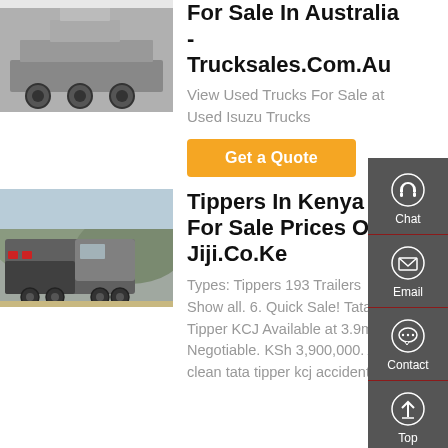[Figure (photo): Underside/rear view of a truck, showing wheels and chassis, on a white background]
For Sale In Australia - Trucksales.Com.Au
View Used Trucks For Sale at Used Isuzu Trucks
Get a Quote
[Figure (photo): Side/front view of a large tipper truck in an outdoor industrial yard with hills in background]
Tippers In Kenya For Sale Prices On Jiji.Co.Ke
Types: Tippers 193 Trailers Show all. 6. Quick Sale! Tata Tipper KCJ Available at 3.9m Negotiable. KSh 3,900,000. A clean tata tipper kcj accident